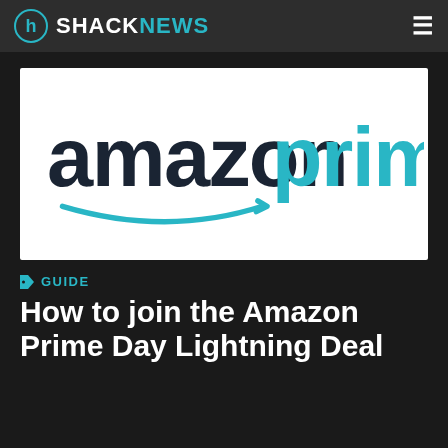SHACKNEWS
[Figure (logo): Amazon Prime logo on white background — 'amazon' in dark navy/charcoal lowercase font with the smile arrow underneath, and 'prime' in cyan/teal lowercase font to its right]
GUIDE
How to join the Amazon Prime Day Lightning Deal